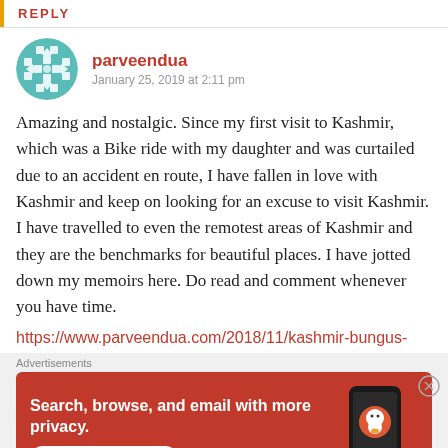REPLY
parveendua
January 25, 2019 at 2:11 pm
Amazing and nostalgic. Since my first visit to Kashmir, which was a Bike ride with my daughter and was curtailed due to an accident en route, I have fallen in love with Kashmir and keep on looking for an excuse to visit Kashmir. I have travelled to even the remotest areas of Kashmir and they are the benchmarks for beautiful places. I have jotted down my memoirs here. Do read and comment whenever you have time.
https://www.parveendua.com/2018/11/kashmir-bungus-
[Figure (infographic): DuckDuckGo advertisement banner: orange/red background with text 'Search, browse, and email with more privacy. All in One Free App' alongside a phone showing the DuckDuckGo logo and brand name.]